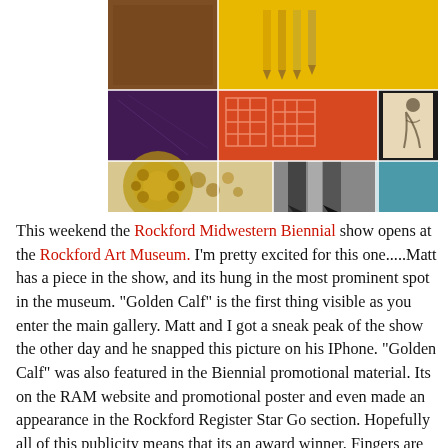[Figure (photo): A collage of artwork images: top row shows a brown textured piece and yellow background with pencils; middle row shows a purple textured piece, an orange grid/cube sculpture, and a light-colored vessel with a figure drawn on it; bottom row shows an ornate golden brooch/jewelry piece, a black-and-white photo of legs in heels, and a teal/blue solid color panel.]
This weekend the Rockford Midwestern Biennial show opens at the Rockford Art Museum. I'm pretty excited for this one.....Matt has a piece in the show, and its hung in the most prominent spot in the museum. "Golden Calf" is the first thing visible as you enter the main gallery. Matt and I got a sneak peak of the show the other day and he snapped this picture on his IPhone. "Golden Calf" was also featured in the Biennial promotional material. Its on the RAM website and promotional poster and even made an appearance in the Rockford Register Star Go section. Hopefully all of this publicity means that its an award winner. Fingers are